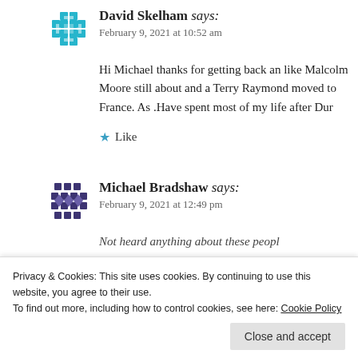[Figure (illustration): Teal/cyan geometric avatar icon for David Skelham]
David Skelham says:
February 9, 2021 at 10:52 am
Hi Michael thanks for getting back an like Malcolm Moore still about and a Terry Raymond moved to France. As .Have spent most of my life after Dur
★ Like
[Figure (illustration): Dark purple geometric avatar icon for Michael Bradshaw]
Michael Bradshaw says:
February 9, 2021 at 12:49 pm
Not heard anything about these peopl e
Privacy & Cookies: This site uses cookies. By continuing to use this website, you agree to their use.
To find out more, including how to control cookies, see here: Cookie Policy
Close and accept